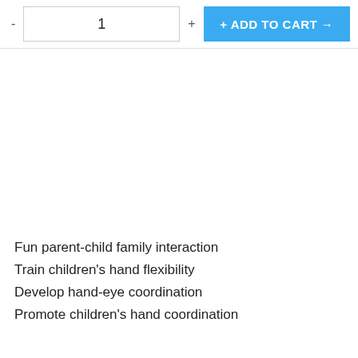[Figure (screenshot): E-commerce add to cart UI with quantity selector (minus button, input showing 1, plus button) and a blue '+ ADD TO CART →' button]
Fun parent-child family interaction
Train children's hand flexibility
Develop hand-eye coordination
Promote children's hand coordination